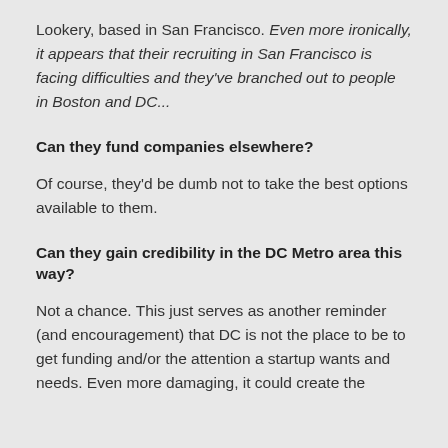Lookery, based in San Francisco. Even more ironically, it appears that their recruiting in San Francisco is facing difficulties and they've branched out to people in Boston and DC...
Can they fund companies elsewhere?
Of course, they'd be dumb not to take the best options available to them.
Can they gain credibility in the DC Metro area this way?
Not a chance. This just serves as another reminder (and encouragement) that DC is not the place to be to get funding and/or the attention a startup wants and needs. Even more damaging, it could create the